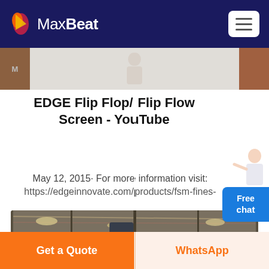MaxBeat
EDGE Flip Flop/ Flip Flow Screen - YouTube
May 12, 2015· For more information visit: https://edgeinnovate.com/products/fsm-fines-
[Figure (photo): Industrial warehouse interior with heavy machinery and equipment, steel roof structure visible]
Get a Quote
WhatsApp